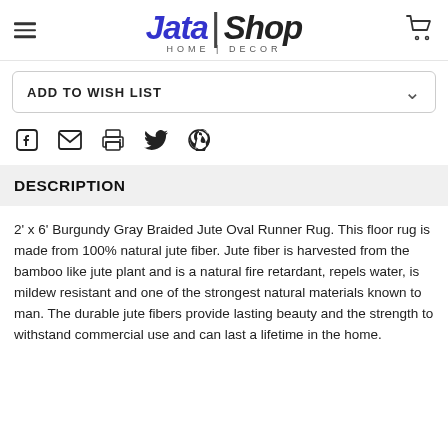Jata | Shop HOME | DECOR
ADD TO WISH LIST
[Figure (other): Social sharing icons: Facebook, email/envelope, print, Twitter, Pinterest]
DESCRIPTION
2' x 6' Burgundy Gray Braided Jute Oval Runner Rug. This floor rug is made from 100% natural jute fiber. Jute fiber is harvested from the bamboo like jute plant and is a natural fire retardant, repels water, is mildew resistant and one of the strongest natural materials known to man. The durable jute fibers provide lasting beauty and the strength to withstand commercial use and can last a lifetime in the home.